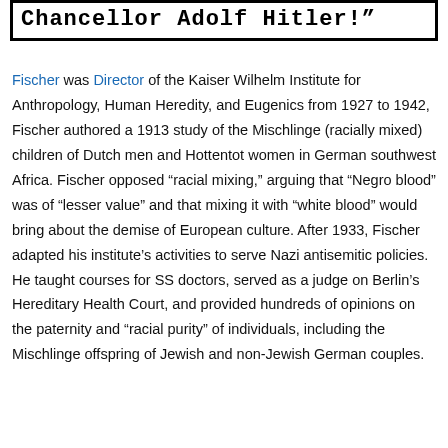Chancellor Adolf Hitler!"
Fischer was Director of the Kaiser Wilhelm Institute for Anthropology, Human Heredity, and Eugenics from 1927 to 1942, Fischer authored a 1913 study of the Mischlinge (racially mixed) children of Dutch men and Hottentot women in German southwest Africa. Fischer opposed “racial mixing,” arguing that “Negro blood” was of “lesser value” and that mixing it with “white blood” would bring about the demise of European culture. After 1933, Fischer adapted his institute’s activities to serve Nazi antisemitic policies. He taught courses for SS doctors, served as a judge on Berlin’s Hereditary Health Court, and provided hundreds of opinions on the paternity and “racial purity” of individuals, including the Mischlinge offspring of Jewish and non-Jewish German couples.